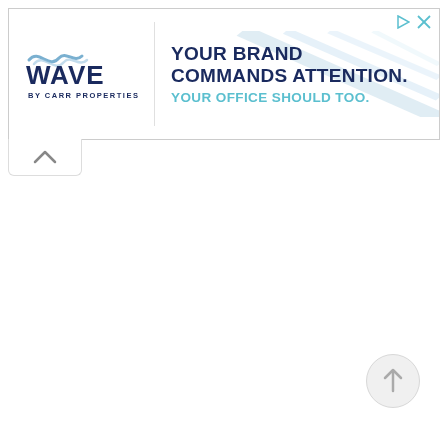[Figure (other): Advertisement banner for WAVE by Carr Properties with text: 'YOUR BRAND COMMANDS ATTENTION. YOUR OFFICE SHOULD TOO.' with decorative diagonal light rays in background. Logo shows WAVE with stylized wave graphic and 'BY CARR PROPERTIES' below.]
[Figure (other): Collapse/hide tab button with upward chevron arrow, positioned below the advertisement banner on the left side.]
[Figure (other): Scroll to top circular button with upward arrow icon, positioned in the lower right area of the page.]